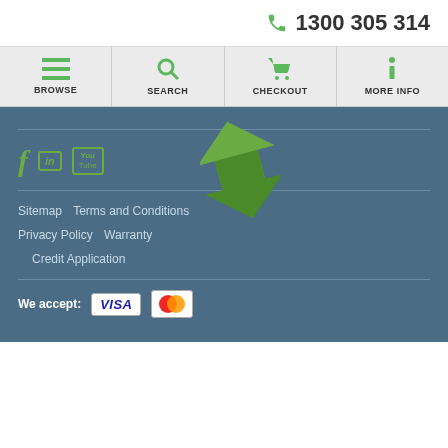1300 305 314
[Figure (screenshot): Navigation bar with Browse, Search, Checkout, More Info icons]
[Figure (infographic): Social media icons: Facebook, LinkedIn, YouTube and green arrow logo]
Sitemap   Terms and Conditions   Privacy Policy   Warranty   Credit Application
We accept: VISA Mastercard